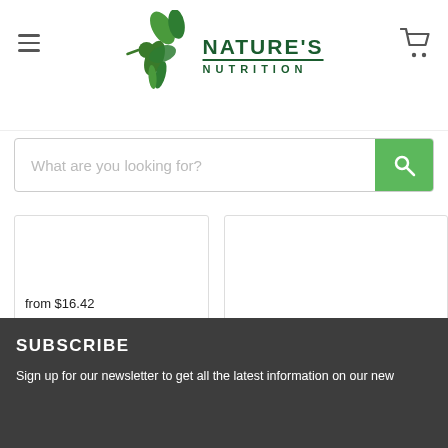[Figure (logo): Nature's Nutrition logo with hummingbird and green leaf design, text reading NATURE'S NUTRITION]
What are you looking for?
from $16.42
CHOOSE OPTIONS
CHOOSE OPTIONS
SUBSCRIBE
Sign up for our newsletter to get all the latest information on our new